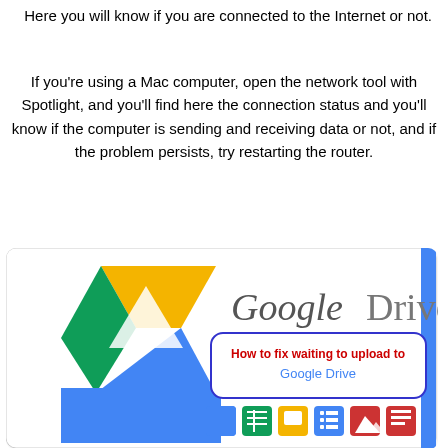Here you will know if you are connected to the Internet or not.
If you're using a Mac computer, open the network tool with Spotlight, and you'll find here the connection status and you'll know if the computer is sending and receiving data or not, and if the problem persists, try restarting the router.
[Figure (screenshot): Google Drive logo and promotional image with text 'How to fix waiting to upload to Google Drive' and Google app icons at the bottom]